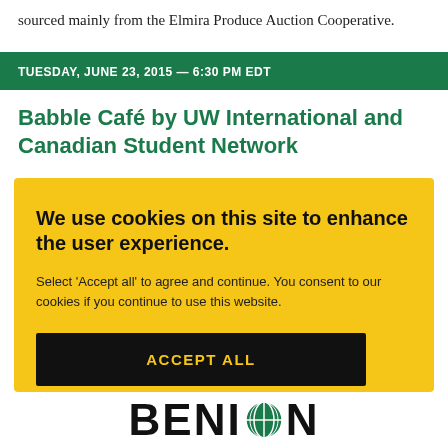sourced mainly from the Elmira Produce Auction Cooperative.
TUESDAY, JUNE 23, 2015 — 6:30 PM EDT
Babble Café by UW International and Canadian Student Network
We use cookies on this site to enhance the user experience.
Select 'Accept all' to agree and continue. You consent to our cookies if you continue to use this website.
ACCEPT ALL
[Figure (logo): BENISON logo with globe icon in large black letters at bottom of page]